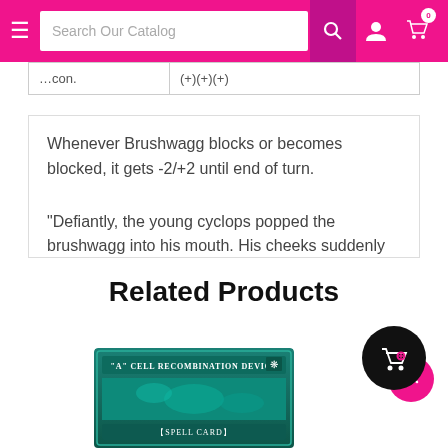Search Our Catalog
| ...con. | (+)(+)(+) |
Whenever Brushwagg blocks or becomes blocked, it gets -2/+2 until end of turn.
"Defiantly, the young cyclops popped the brushwagg into his mouth. His cheeks suddenly puffed, his eye bulged, and he was forced to agree with his elder." —Afari, Tales
Related Products
[Figure (photo): Yu-Gi-Oh card: 'A' Cell Recombination Device [Spell Card]]